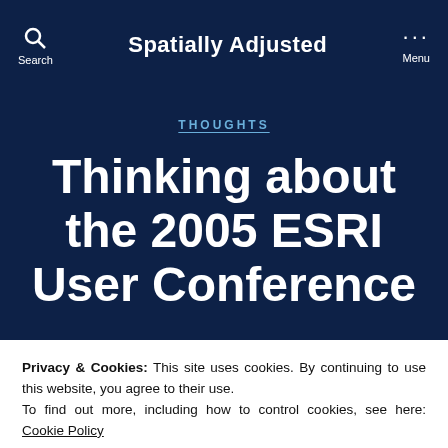Spatially Adjusted — Search / Menu
THOUGHTS
Thinking about the 2005 ESRI User Conference
Privacy & Cookies: This site uses cookies. By continuing to use this website, you agree to their use. To find out more, including how to control cookies, see here: Cookie Policy
CLOSE AND ACCEPT